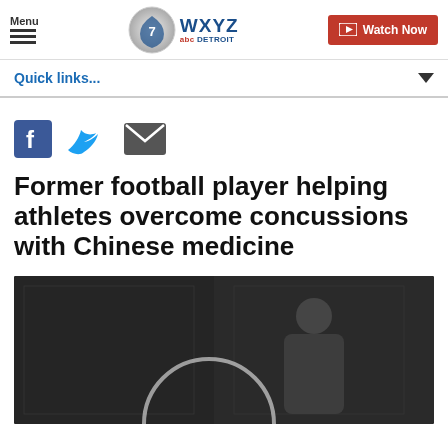Menu | WXYZ abc DETROIT | Watch Now
Quick links...
[Figure (other): Social sharing icons: Facebook, Twitter, Email]
Former football player helping athletes overcome concussions with Chinese medicine
[Figure (photo): Dark photo of a person sitting in what appears to be a medical or office setting, with a circular arc visible in the foreground]